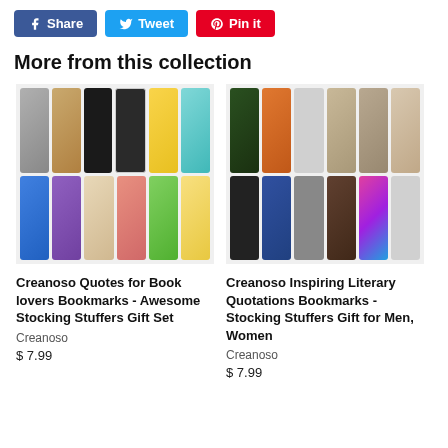Share  Tweet  Pin it
More from this collection
[Figure (photo): Creanoso Quotes for Book lovers Bookmarks - two rows of colorful bookmark designs]
Creanoso Quotes for Book lovers Bookmarks - Awesome Stocking Stuffers Gift Set
Creanoso
$ 7.99
[Figure (photo): Creanoso Inspiring Literary Quotations Bookmarks - two rows of photo-style bookmark designs]
Creanoso Inspiring Literary Quotations Bookmarks - Stocking Stuffers Gift for Men, Women
Creanoso
$ 7.99